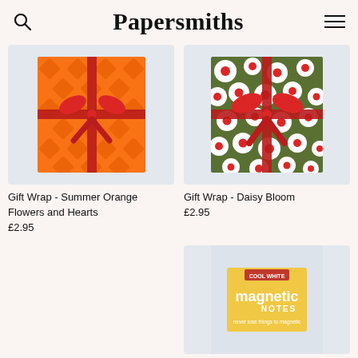Papersmiths
[Figure (photo): Gift wrap with orange and red diamond/heart pattern tied with red ribbon bow]
Gift Wrap - Summer Orange Flowers and Hearts
£2.95
[Figure (photo): Gift wrap with green and white daisy/flower pattern with red dots tied with red ribbon bow]
Gift Wrap - Daisy Bloom
£2.95
[Figure (photo): Yellow rectangular magnetic notes product package partially visible]